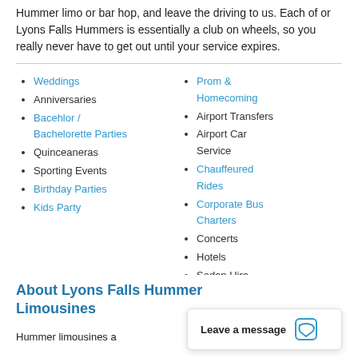Hummer limo or bar hop, and leave the driving to us. Each of or Lyons Falls Hummers is essentially a club on wheels, so you really never have to get out until your service expires.
Weddings
Anniversaries
Bacehlor / Bachelorette Parties
Quinceaneras
Sporting Events
Birthday Parties
Kids Party
Prom & Homecoming
Airport Transfers
Airport Car Service
Chauffeured Rides
Corporate Bus Charters
Concerts
Hotels
Sedan Hire
About Lyons Falls Hummer Limousines
Hummer limousines a…